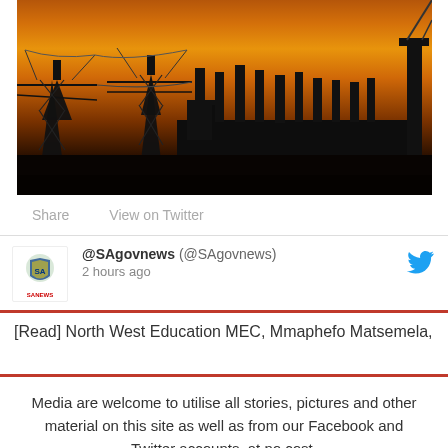[Figure (photo): Silhouette of electrical power transmission towers and industrial chimneys against a dramatic orange and golden sunset sky]
Share   View on Twitter
@SAgovnews (@SAgovnews) 2 hours ago
[Read] North West Education MEC, Mmaphefo Matsemela,
Media are welcome to utilise all stories, pictures and other material on this site as well as from our Facebook and Twitter accounts, at no cost.
General Contact Details